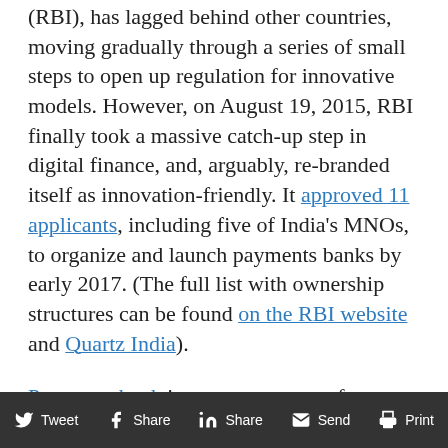(RBI), has lagged behind other countries, moving gradually through a series of small steps to open up regulation for innovative models. However, on August 19, 2015, RBI finally took a massive catch-up step in digital finance, and, arguably, re-branded itself as innovation-friendly. It approved 11 applicants, including five of India's MNOs, to organize and launch payments banks by early 2017. (The full list with ownership structures can be found on the RBI website and Quartz India). Payments bank is a new category of specialized bank that can offer a variety of payment services. It can also provide an interest-bearing
Tweet  Share  Share  Send  Print